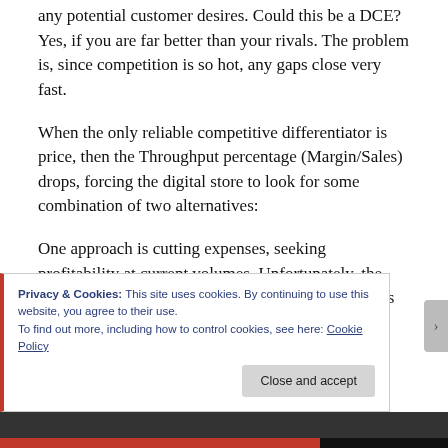any potential customer desires. Could this be a DCE? Yes, if you are far better than your rivals. The problem is, since competition is so hot, any gaps close very fast.
When the only reliable competitive differentiator is price, then the Throughput percentage (Margin/Sales) drops, forcing the digital store to look for some combination of two alternatives:
One approach is cutting expenses, seeking profitability at current volumes. Unfortunately, the main expenses of digital stores support marketing as
Privacy & Cookies: This site uses cookies. By continuing to use this website, you agree to their use.
To find out more, including how to control cookies, see here: Cookie Policy
Close and accept